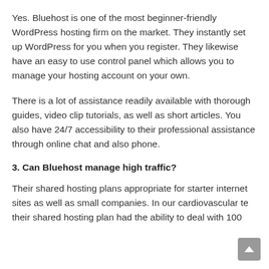Yes. Bluehost is one of the most beginner-friendly WordPress hosting firm on the market. They instantly set up WordPress for you when you register. They likewise have an easy to use control panel which allows you to manage your hosting account on your own.
There is a lot of assistance readily available with thorough guides, video clip tutorials, as well as short articles. You also have 24/7 accessibility to their professional assistance through online chat and also phone.
3. Can Bluehost manage high traffic?
Their shared hosting plans appropriate for starter internet sites as well as small companies. In our cardiovascular te their shared hosting plan had the ability to deal with 100